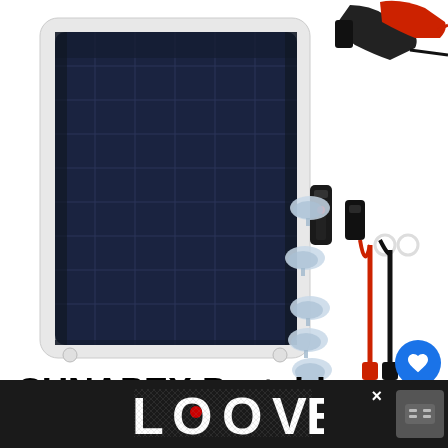[Figure (photo): Product photo showing a SUNAPEX portable solar panel (dark blue polycrystalline panel with white frame and mounting holes) on the left, and accessories on the right including alligator clips/battery clamps, suction cups, a cigarette lighter adapter, SAE connector, ring connectors, and wiring harness with red and black leads.]
SUNAPEX Portable Solar Battery Charger
[Figure (screenshot): What's Next overlay card showing a thumbnail of solar batteries and text 'Best Batteries For Solar...']
[Figure (screenshot): Social media UI elements: blue heart/like button with count '1', and a grey share button on the right edge of the page.]
[Figure (photo): Advertisement banner at the bottom with dark background showing decorative 'LOOVE' text logo in black and white artistic style, with an X close button and a small grey icon on the right.]